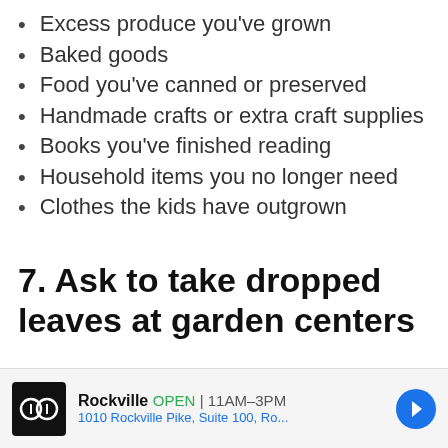Excess produce you've grown
Baked goods
Food you've canned or preserved
Handmade crafts or extra craft supplies
Books you've finished reading
Household items you no longer need
Clothes the kids have outgrown
7. Ask to take dropped leaves at garden centers
Have you ever noticed dropped leaves o
Rockville OPEN 11AM–3PM 1010 Rockville Pike, Suite 100, Ro...